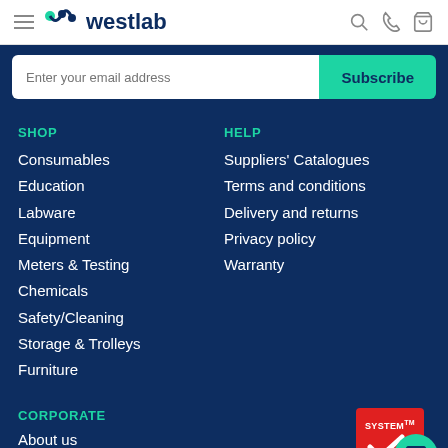Westlab — navigation header with hamburger menu, logo, search, phone, and cart icons
Enter your email address  Subscribe
SHOP
Consumables
Education
Labware
Equipment
Meters & Testing
Chemicals
Safety/Cleaning
Storage & Trolleys
Furniture
HELP
Suppliers' Catalogues
Terms and conditions
Delivery and returns
Privacy policy
Warranty
CORPORATE
About us
[Figure (logo): System certification badge — red rectangle with System text and two white checkmarks, TM mark]